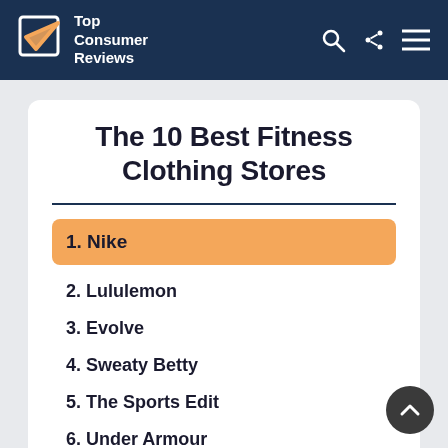Top Consumer Reviews
The 10 Best Fitness Clothing Stores
1. Nike
2. Lululemon
3. Evolve
4. Sweaty Betty
5. The Sports Edit
6. Under Armour
7. Adidas